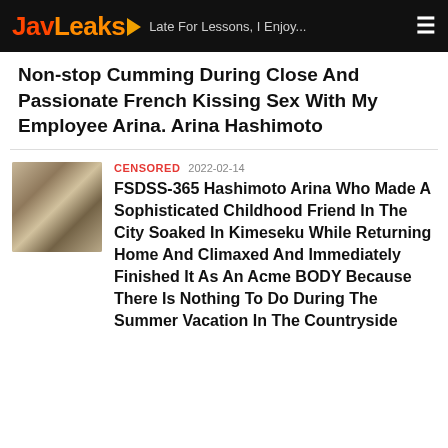JavLeaks | Late For Lessons, I Enjoy...
Non-stop Cumming During Close And Passionate French Kissing Sex With My Employee Arina. Arina Hashimoto
CENSORED  2022-02-14
FSDSS-365 Hashimoto Arina Who Made A Sophisticated Childhood Friend In The City Soaked In Kimeseku While Returning Home And Climaxed And Immediately Finished It As An Acme BODY Because There Is Nothing To Do During The Summer Vacation In The Countryside